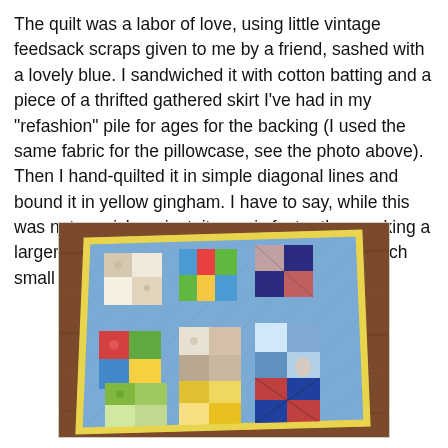The quilt was a labor of love, using little vintage feedsack scraps given to me by a friend, sashed with a lovely blue. I sandwiched it with cotton batting and a piece of a thrifted gathered skirt I've had in my "refashion" pile for ages for the backing (I used the same fabric for the pillowcase, see the photo above). Then I hand-quilted it in simple diagonal lines and bound it in yellow gingham. I have to say, while this was not a quick project, it sure is faster than making a larger quilt and it's really fun to be able to use such small scraps! Doll quilts are really fun!
[Figure (photo): A small doll quilt laid flat on a wooden surface. The quilt has a blue background with a yellow gingham border. Colorful vintage feedsack fabric squares are arranged in a 3x3 grid pattern of groups, featuring floral, striped, plaid, and patterned fabrics in yellows, greens, reds, blues, and whites.]